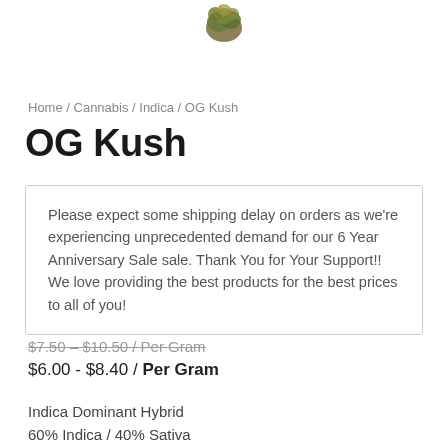[Figure (photo): Partial cannabis bud photo at top of page, cropped]
Home / Cannabis / Indica / OG Kush
OG Kush
Please expect some shipping delay on orders as we're experiencing unprecedented demand for our 6 Year Anniversary Sale sale. Thank You for Your Support!! We love providing the best products for the best prices to all of you!
$7.50 - $10.50 / Per Gram
$6.00 - $8.40 / Per Gram
Indica Dominant Hybrid
60% Indica / 40% Sativa